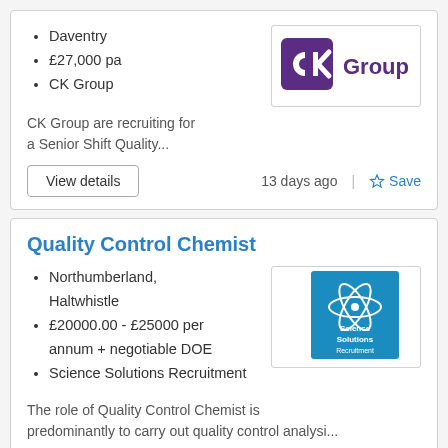Daventry
£27,000 pa
CK Group
[Figure (logo): CK Group company logo with purple CK icon and 'Group' text]
CK Group are recruiting for a Senior Shift Quality...
View details
13 days ago
Save
Quality Control Chemist
Northumberland, Haltwhistle
£20000.00 - £25000 per annum + negotiable DOE
Science Solutions Recruitment
[Figure (logo): Science Solutions Recruitment logo — blue square with atomic orbit graphic and company name in white text]
The role of Quality Control Chemist is predominantly to carry out quality control analysi...